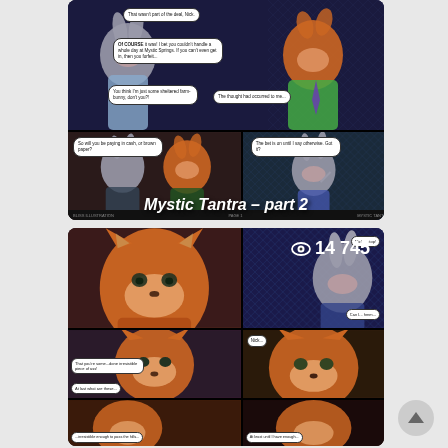[Figure (illustration): Comic page thumbnail showing Zootopia fan comic 'Mystic Tantra - part 2'. Upper panel shows rabbit and fox characters in a nightclub setting with speech bubbles. Lower portion shows the fox character and rabbit in various panels with speech bubbles. Title 'Mystic Tantra - part 2' overlaid in white italic text.]
[Figure (illustration): Second comic page thumbnail showing continuation of Mystic Tantra comic. View count of 14,745 shown with eye icon in top right. Multiple panels showing fox and rabbit characters with speech bubbles. Scroll-to-top button visible in lower right.]